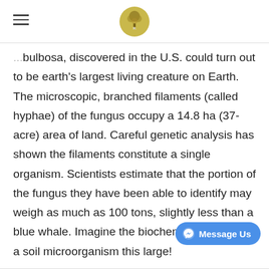[hamburger menu] [logo]
bulbosa, discovered in the U.S. could turn out to be earth's largest living creature on Earth. The microscopic, branched filaments (called hyphae) of the fungus occupy a 14.8 ha (37-acre) area of land. Careful genetic analysis has shown the filaments constitute a single organism. Scientists estimate that the portion of the fungus they have been able to identify may weigh as much as 100 tons, slightly less than a blue whale. Imagine the biochemical capacity of a soil microorganism this large!
[Figure (other): Message Us button with Facebook Messenger icon]